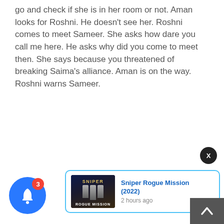go and check if she is in her room or not. Aman looks for Roshni. He doesn't see her. Roshni comes to meet Sameer. She asks how dare you call me here. He asks why did you come to meet then. She says because you threatened of breaking Saima's alliance. Aman is on the way. Roshni warns Sameer.
[Figure (screenshot): Notification popup with movie thumbnail for 'Sniper Rogue Mission (2022)' with '2 hours ago' timestamp, a blue bell icon with red badge showing '3', an X close button, and a scroll-to-top button.]